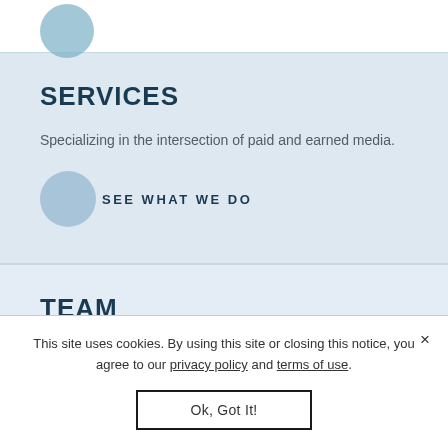[Figure (logo): Partial circular logo in blue/teal at top left]
SERVICES
Specializing in the intersection of paid and earned media.
SEE WHAT WE DO
TEAM
We believe growth fuels opportunities for our employees and our
This site uses cookies. By using this site or closing this notice, you agree to our privacy policy and terms of use.
Ok, Got It!